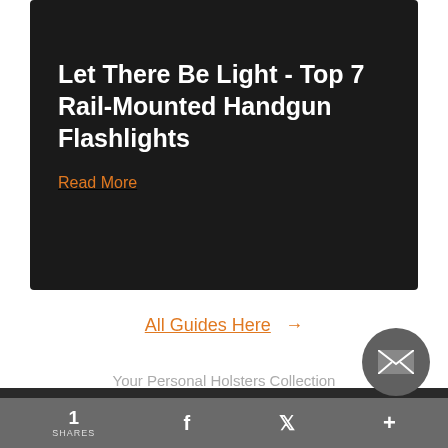Let There Be Light - Top 7 Rail-Mounted Handgun Flashlights
Read More
All Guides Here →
Your Personal Holsters Collection
BROWSE HOLSTERS BY GUN MODEL
1 SHARES  f  ✓  +